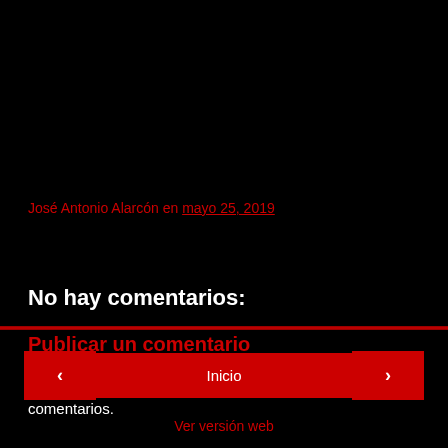José Antonio Alarcón en mayo 25, 2019
Compartir
No hay comentarios:
Publicar un comentario
Nota: solo los miembros de este blog pueden publicar comentarios.
‹   Inicio   ›   Ver versión web